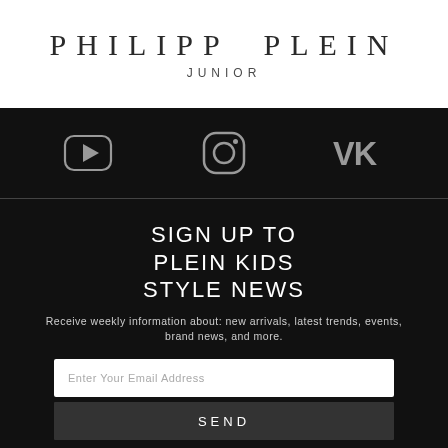PHILIPP PLEIN
JUNIOR
[Figure (logo): Three social media icons on black background: YouTube play button icon, Instagram camera icon, VK logo]
SIGN UP TO PLEIN KIDS STYLE NEWS
Receive weekly information about: new arrivals, latest trends, events, brand news, and more.
Enter Your Email Address
SEND